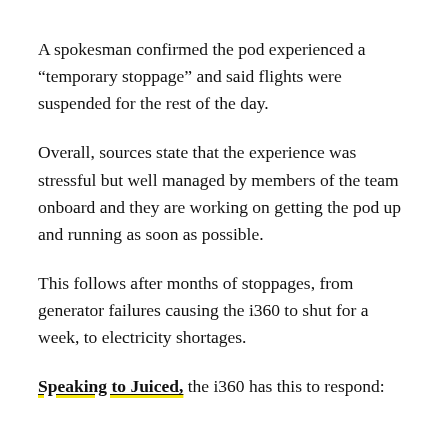A spokesman confirmed the pod experienced a “temporary stoppage” and said flights were suspended for the rest of the day.
Overall, sources state that the experience was stressful but well managed by members of the team onboard and they are working on getting the pod up and running as soon as possible.
This follows after months of stoppages, from generator failures causing the i360 to shut for a week, to electricity shortages.
Speaking to Juiced, the i360 has this to respond: